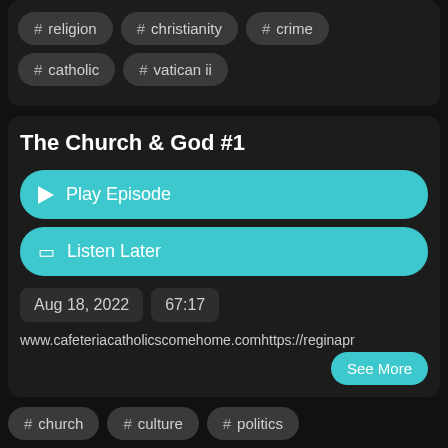# religion
# christianity
# crime
# catholic
# vatican ii
The Church & God #1
Play Episode
Listen Later
Aug 18, 2022
67:17
www.cafeteriacatholicscomehome.comhttps://reginapr
See More
# church
# culture
# politics